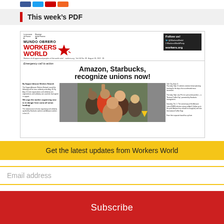[Figure (other): Social media icon buttons: Facebook (blue), Twitter (light blue), YouTube (red), RSS (orange)]
This week’s PDF
[Figure (screenshot): Thumbnail of Workers World / Mundo Obrero newspaper front page. Headline: 'Emergency call to action — Amazon, Starbucks, recognize unions now!' Shows newspaper masthead, photo of union protesters with raised fists, and sidebar text columns.]
Get the latest updates from Workers World
Email address
Subscribe